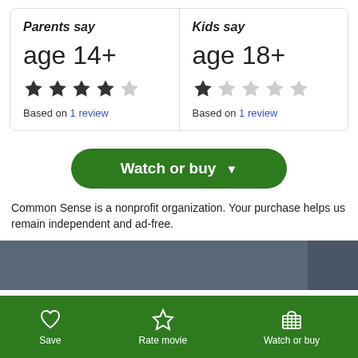Parents say
age 14+
[Figure (infographic): 4 out of 5 stars rating for parents]
Based on 1 review
Kids say
age 18+
[Figure (infographic): 1 out of 5 stars rating for kids]
Based on 1 review
Watch or buy
Common Sense is a nonprofit organization. Your purchase helps us remain independent and ad-free.
[Figure (photo): Partial image strip showing a person with glasses]
Save
Rate movie
Watch or buy